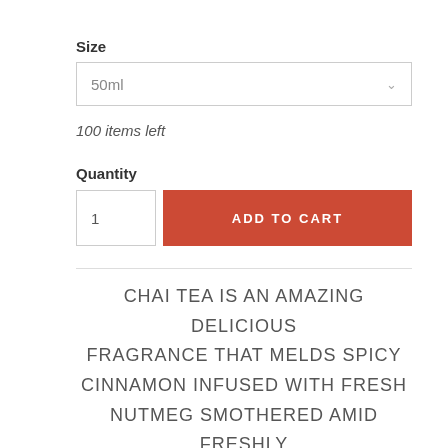Size
50ml
100 items left
Quantity
1
ADD TO CART
CHAI TEA IS AN AMAZING DELICIOUS FRAGRANCE THAT MELDS SPICY CINNAMON INFUSED WITH FRESH NUTMEG SMOTHERED AMID FRESHLY BREWED CHAI TEA, SPICES AND CREAMY